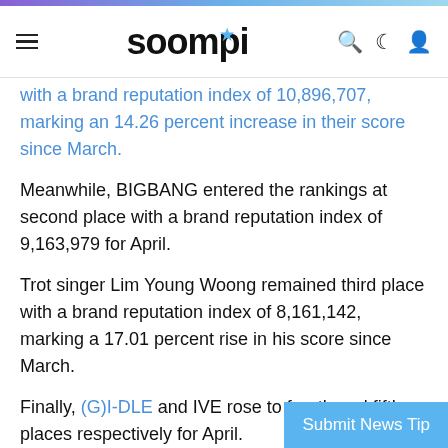soompi
with a brand reputation index of 10,896,707, marking an 14.26 percent increase in their score since March.
Meanwhile, BIGBANG entered the rankings at second place with a brand reputation index of 9,163,979 for April.
Trot singer Lim Young Woong remained third place with a brand reputation index of 8,161,142, marking a 17.01 percent rise in his score since March.
Finally, (G)I-DLE and IVE rose to fourth and fifth places respectively for April.
Check out the top 30 for this month below!
1. BTS